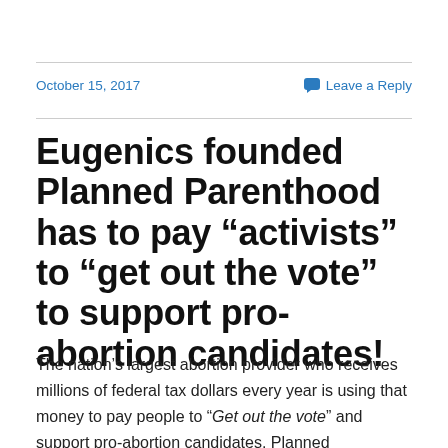October 15, 2017
Leave a Reply
Eugenics founded Planned Parenthood has to pay “activists” to “get out the vote” to support pro-abortion candidates!
The nation’s largest abortion provider who receives millions of federal tax dollars every year is using that money to pay people to “Get out the vote” and support pro-abortion candidates. Planned Parenthood was